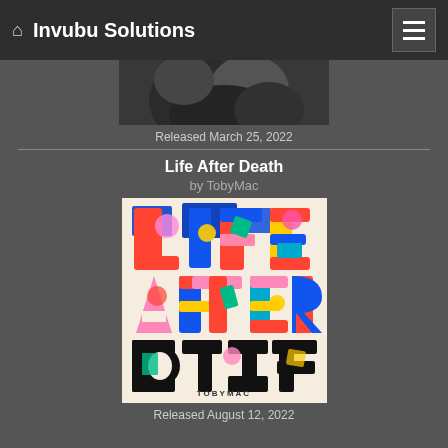Invubu Solutions
[Figure (photo): Partially visible black and white album cover image at the top of the page]
Released March 25, 2022
Life After Death
by TobyMac
[Figure (photo): Album cover for 'Life After Death' by TobyMac. Colorful graphic design with large bold text reading LIFE AFTER DEATH with multicolor abstract shapes filling the letters, on a cream/beige background. Artist name TOBYMAC at the bottom.]
Released August 12, 2022